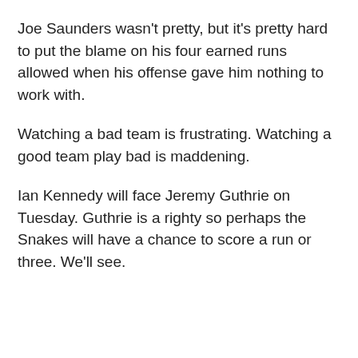Joe Saunders wasn't pretty, but it's pretty hard to put the blame on his four earned runs allowed when his offense gave him nothing to work with.
Watching a bad team is frustrating. Watching a good team play bad is maddening.
Ian Kennedy will face Jeremy Guthrie on Tuesday. Guthrie is a righty so perhaps the Snakes will have a chance to score a run or three. We'll see.